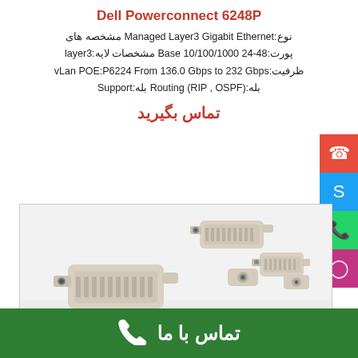Dell Powerconnect 6248P
نوع:Managed Layer3 Gigabit Ethernet مشخصه های پورت:24-48 10/100/1000 Base مشخصات لایه:layer3 ظرفیت:vLan POE:6224P From 136.0 Gbps to 232 Gbps Support:بله Routing (RIP , OSPF):بله
تماس بگیرید
[Figure (photo): Fiber optic LC connectors (white/beige colored) on a light gray background]
تماس با ما